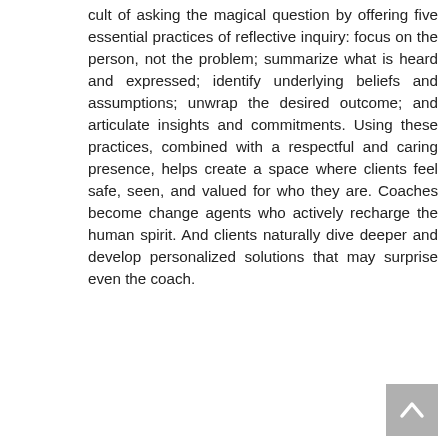cult of asking the magical question by offering five essential practices of reflective inquiry: focus on the person, not the problem; summarize what is heard and expressed; identify underlying beliefs and assumptions; unwrap the desired outcome; and articulate insights and commitments. Using these practices, combined with a respectful and caring presence, helps create a space where clients feel safe, seen, and valued for who they are. Coaches become change agents who actively recharge the human spirit. And clients naturally dive deeper and develop personalized solutions that may surprise even the coach.